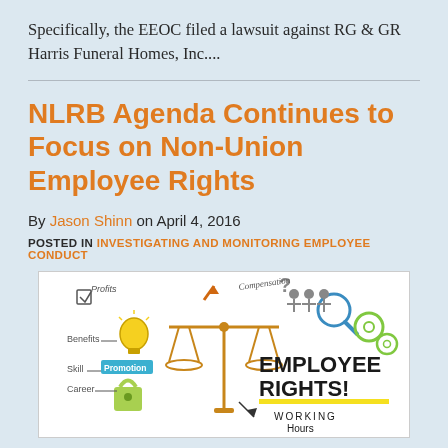Specifically, the EEOC filed a lawsuit against RG & GR Harris Funeral Homes, Inc....
NLRB Agenda Continues to Focus on Non-Union Employee Rights
By Jason Shinn on April 4, 2016
POSTED IN INVESTIGATING AND MONITORING EMPLOYEE CONDUCT
[Figure (illustration): Illustrated infographic showing employee rights concepts including a balance scale, lightbulb, padlock, gears, magnifying glass, and text labels such as 'EMPLOYEE RIGHTS!', 'WORKING Hours', 'Benefits', 'Promotion', 'Skill', 'Career', 'Profits', 'Compensation']